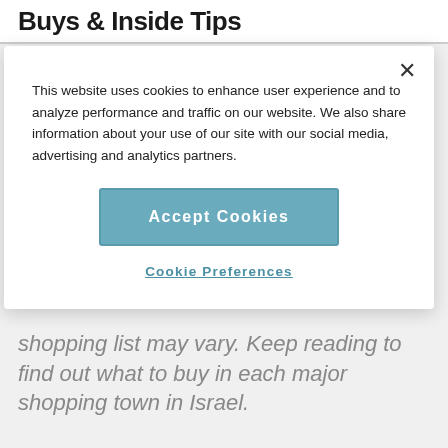Buys & Inside Tips
[Figure (screenshot): Cookie consent modal dialog with close button (×), explanatory text about cookies, an 'Accept Cookies' button, and a 'Cookie Preferences' link]
shopping list may vary. Keep reading to find out what to buy in each major shopping town in Israel.